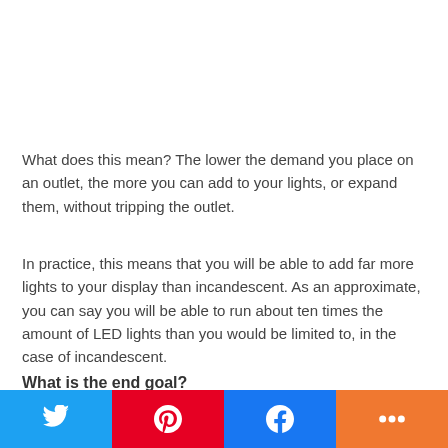What does this mean? The lower the demand you place on an outlet, the more you can add to your lights, or expand them, without tripping the outlet.
In practice, this means that you will be able to add far more lights to your display than incandescent. As an approximate, you can say you will be able to run about ten times the amount of LED lights than you would be limited to, in the case of incandescent.
What is the end goal?
What overall look are you going for? Not just on your tree
[Figure (other): Social sharing buttons row: Twitter (blue), Pinterest (red), Facebook (blue), and one more (orange)]